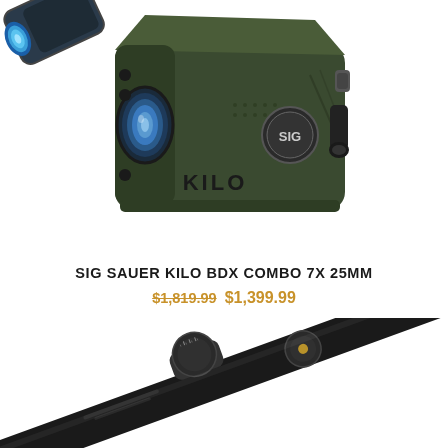[Figure (photo): Sig Sauer Kilo rangefinder device in dark olive/black color, top-down angled view showing the lens, SIG logo, and KILO branding on the body. A blue-lensed monocular appears partially at top-left.]
SIG SAUER KILO BDX COMBO 7X 25MM
$1,819.99 $1,399.99
[Figure (photo): Rifle scope viewed at an angle, black finish, showing turret adjustment knob and objective lens, diagonal orientation from lower-left to upper-right.]